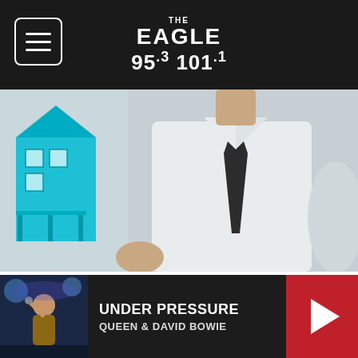THE EAGLE 95.3 101.1
[Figure (photo): Person in white dress shirt and dark tie with a blue house model in background — real estate agent advertisement photo]
New Senior Apartments Near Ashburn (Take A Look At The Prices)
Senior Living | Search Ads
[Figure (photo): Close-up of a white toilet and a blue flush mechanism with a person's arm/hand visible — product advertisement photo]
[Figure (photo): Artist performing on stage — thumbnail for music player]
UNDER PRESSURE
QUEEN & DAVID BOWIE